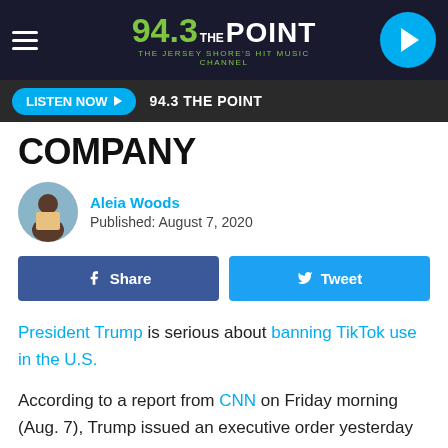94.3 THE POINT — THE JERSEY SHORE'S HIT MUSIC CHANNEL
COMPANY
Aleia Woods
Published: August 7, 2020
President Trump is serious about banning TikTok use in the U.S.

According to a report from CNN on Friday morning (Aug. 7), Trump issued an executive order yesterday (Aug. 6) that would ban Chinese social media apps including TikTok, a short-form video app, from being used in the U.S. in 45 days